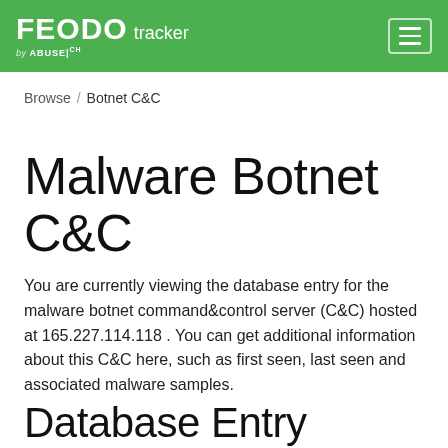FEODO tracker by ABUSE.CH
Browse / Botnet C&C
Malware Botnet C&C
You are currently viewing the database entry for the malware botnet command&control server (C&C) hosted at 165.227.114.118 . You can get additional information about this C&C here, such as first seen, last seen and associated malware samples.
Database Entry